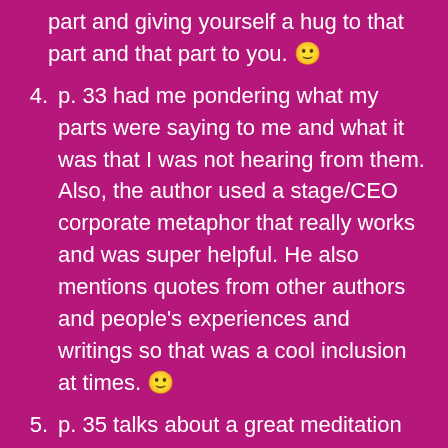part and giving yourself a hug to that part and that part to you. 🙂
4. p. 33 had me pondering what my parts were saying to me and what it was that I was not hearing from them. Also, the author used a stage/CEO corporate metaphor that really works and was super helpful. He also mentions quotes from other authors and people's experiences and writings so that was a cool inclusion at times. 🙂
5. p. 35 talks about a great meditation metaphor about letting the parts speak in the corporate office and asks the Reader to lend compassion and mindfulness and nonjudgmental stances towards each part and allowing them the space to exist and not have to either fix them or shut